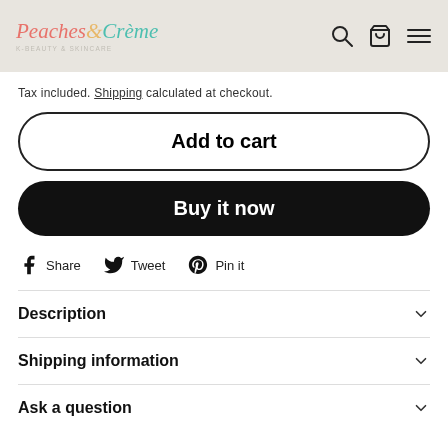Peaches & Crème — K-Beauty & Skincare
Tax included. Shipping calculated at checkout.
Add to cart
Buy it now
Share  Tweet  Pin it
Description
Shipping information
Ask a question